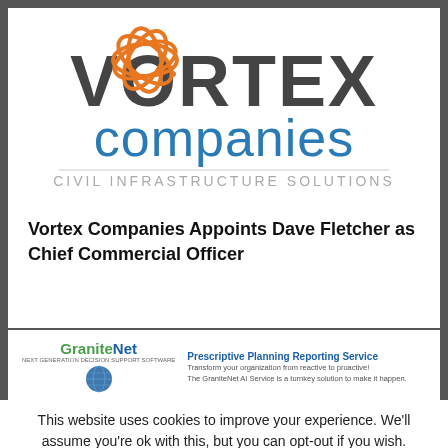[Figure (logo): Vortex Companies logo with orange swirl graphic, dark gray VORTEX text, blue 'companies' text, and 'CIVIL INFRASTRUCTURE SOLUTIONS' tagline]
Vortex Companies Appoints Dave Fletcher as Chief Commercial Officer
[Figure (logo): GraniteNet banner ad: blue globe, GraniteNet brand name, 'Prescriptive Planning Reporting Service' headline, descriptive text about transforming organization from reactive to proactive]
This website uses cookies to improve your experience. We'll assume you're ok with this, but you can opt-out if you wish.
Cookie settings   ACCEPT